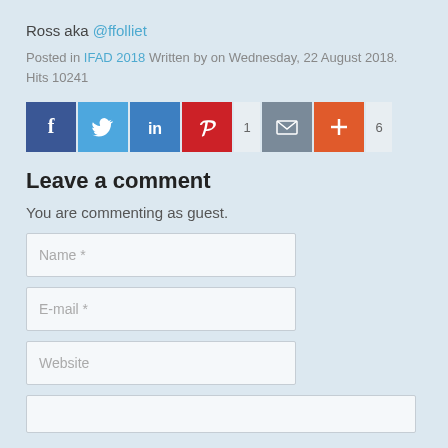Ross aka @ffolliet
Posted in IFAD 2018 Written by on Wednesday, 22 August 2018. Hits 10241
[Figure (other): Social sharing buttons: Facebook (blue), Twitter (light blue), LinkedIn (blue), Pinterest (red), count 1, Email (gray), Plus/More (orange-red), count 6]
Leave a comment
You are commenting as guest.
Name *
E-mail *
Website